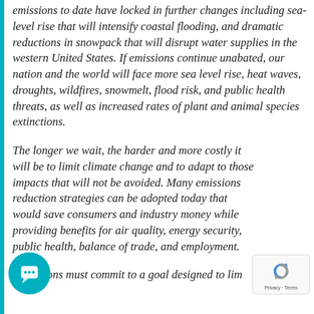emissions to date have locked in further changes including sea-level rise that will intensify coastal flooding, and dramatic reductions in snowpack that will disrupt water supplies in the western United States. If emissions continue unabated, our nation and the world will face more sea level rise, heat waves, droughts, wildfires, snowmelt, flood risk, and public health threats, as well as increased rates of plant and animal species extinctions.
The longer we wait, the harder and more costly it will be to limit climate change and to adapt to those impacts that will not be avoided. Many emissions reduction strategies can be adopted today that would save consumers and industry money while providing benefits for air quality, energy security, public health, balance of trade, and employment.
All nations must commit to a goal designed to limit